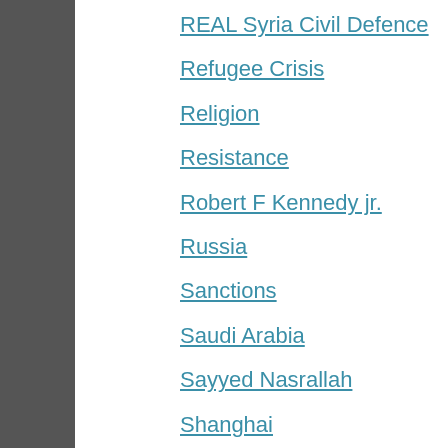REAL Syria Civil Defence
Refugee Crisis
Religion
Resistance
Robert F Kennedy jr.
Russia
Sanctions
Saudi Arabia
Sayyed Nasrallah
Shanghai
Shiism
Sierra Leone
Skripals
Sri Lanka
Sryia
Sweida